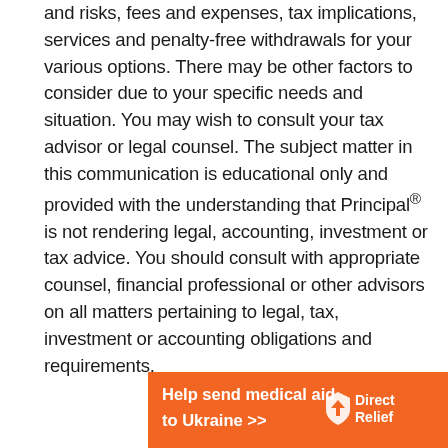and risks, fees and expenses, tax implications, services and penalty-free withdrawals for your various options. There may be other factors to consider due to your specific needs and situation. You may wish to consult your tax advisor or legal counsel. The subject matter in this communication is educational only and provided with the understanding that Principal® is not rendering legal, accounting, investment or tax advice. You should consult with appropriate counsel, financial professional or other advisors on all matters pertaining to legal, tax, investment or accounting obligations and requirements.
[Figure (infographic): Orange advertisement banner reading 'Help send medical aid to Ukraine >>' with DirectRelief logo on right side]